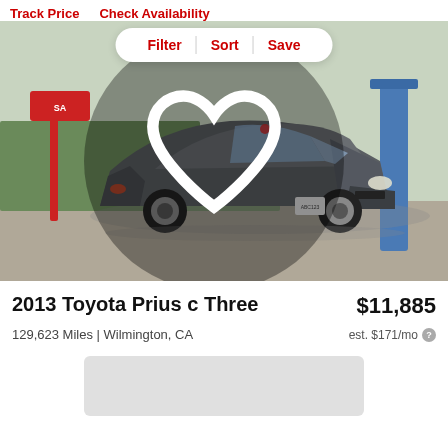Track Price   Check Availability
Filter   Sort   Save
[Figure (photo): Photo of a gray 2013 Toyota Prius c Three hatchback parked at a dealership lot with trees and a blue pillar in the background.]
2013 Toyota Prius c Three
$11,885
129,623 Miles | Wilmington, CA
est. $171/mo